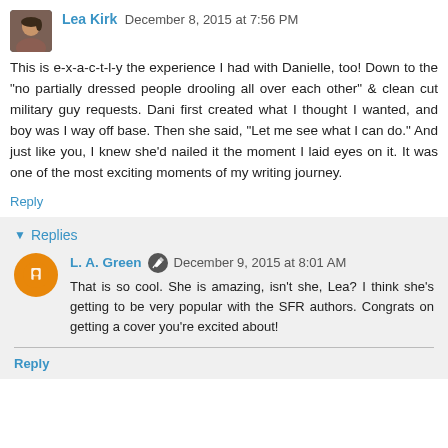Lea Kirk  December 8, 2015 at 7:56 PM
This is e-x-a-c-t-l-y the experience I had with Danielle, too! Down to the "no partially dressed people drooling all over each other" & clean cut military guy requests. Dani first created what I thought I wanted, and boy was I way off base. Then she said, "Let me see what I can do." And just like you, I knew she'd nailed it the moment I laid eyes on it. It was one of the most exciting moments of my writing journey.
Reply
Replies
L. A. Green  December 9, 2015 at 8:01 AM
That is so cool. She is amazing, isn't she, Lea? I think she's getting to be very popular with the SFR authors. Congrats on getting a cover you're excited about!
Reply